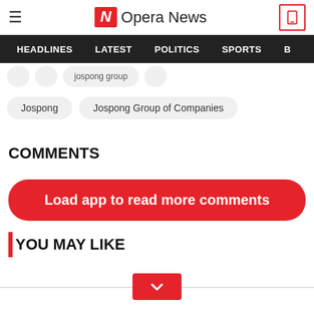Opera News
HEADLINES  LATEST  POLITICS  SPORTS
Jospong
Jospong Group of Companies
COMMENTS
Load app to read more comments
YOU MAY LIKE